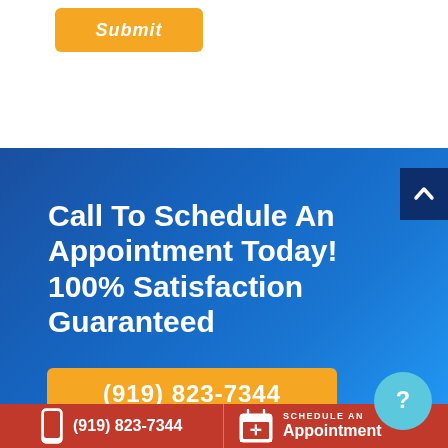[Figure (other): Orange Submit button on white background]
Call To Schedule An Appointment Today! 100% Satisfaction Guaranteed
[Figure (other): Orange phone number button showing (919) 823-7344]
(919) 823-7344  SCHEDULE AN Appointment